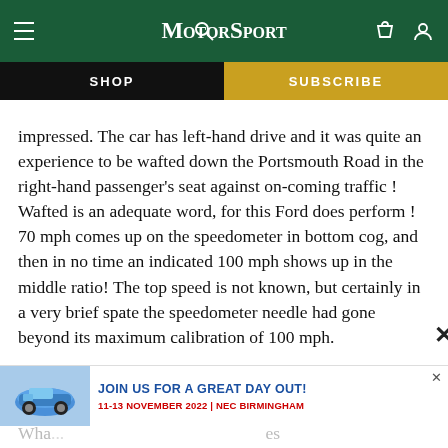Motor Sport
SHOP
SUBSCRIBE
impressed. The car has left-hand drive and it was quite an experience to be wafted down the Portsmouth Road in the right-hand passenger's seat against on-coming traffic ! Wafted is an adequate word, for this Ford does perform ! 70 mph comes up on the speedometer in bottom cog, and then in no time an indicated 100 mph shows up in the middle ratio! The top speed is not known, but certainly in a very brief spate the speedometer needle had gone beyond its maximum calibration of 100 mph.
[Figure (infographic): Advertisement banner: blue Porsche 911 car image on left, text 'JOIN US FOR A GREAT DAY OUT! 11-13 NOVEMBER 2022 | NEC BIRMINGHAM' on right]
Wha... es